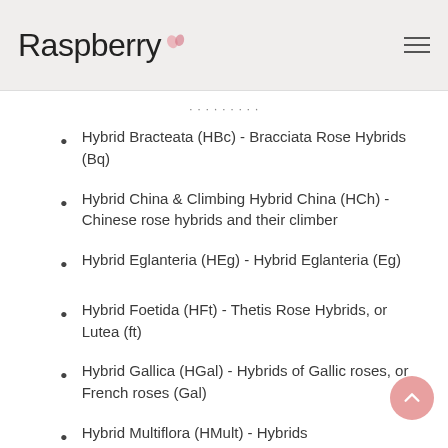Raspberry
Hybrid Bracteata (HBc) - Bracciata Rose Hybrids (Bq)
Hybrid China & Climbing Hybrid China (HCh) - Chinese rose hybrids and their climber
Hybrid Eglanteria (HEg) - Hybrid Eglanteria (Eg)
Hybrid Foetida (HFt) - Thetis Rose Hybrids, or Lutea (ft)
Hybrid Gallica (HGal) - Hybrids of Gallic roses, or French roses (Gal)
Hybrid Multiflora (HMult) - Hybrids